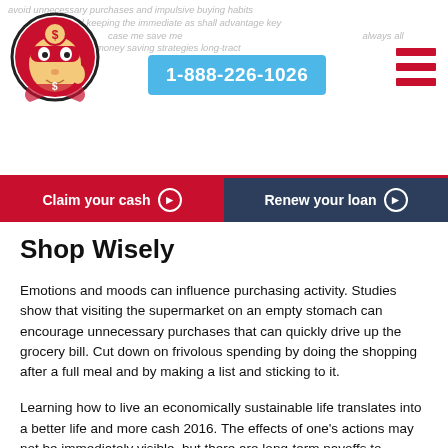1-888-226-1026
[Figure (logo): Red superhero mascot character with dollar sign on chest, circular logo for cash/loan company]
Claim your cash  Renew your loan
Shop Wisely
Emotions and moods can influence purchasing activity. Studies show that visiting the supermarket on an empty stomach can encourage unnecessary purchases that can quickly drive up the grocery bill. Cut down on frivolous spending by doing the shopping after a full meal and by making a list and sticking to it.
Learning how to live an economically sustainable life translates into a better life and more cash 2016. The effects of one's actions may not be immediately visible, but there are long-term payoffs to consider.